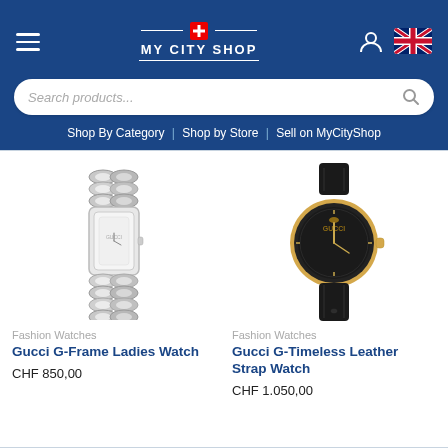MY CITY SHOP
Search products...
Shop By Category | Shop by Store | Sell on MyCityShop
[Figure (photo): Gucci G-Frame Ladies Watch - silver chain bracelet watch with rectangular face]
Fashion Watches
Gucci G-Frame Ladies Watch
CHF 850,00
[Figure (photo): Gucci G-Timeless Leather Strap Watch - round watch with gold case, black embossed leather strap and black dial]
Fashion Watches
Gucci G-Timeless Leather Strap Watch
CHF 1.050,00